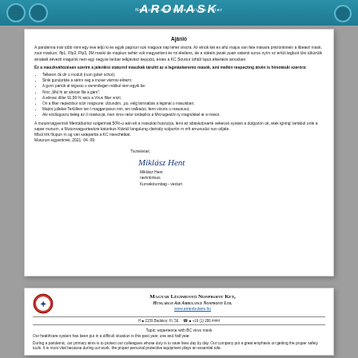AROMASK - Nelson Labs tested virus filter
Ajánló
A pandémia már több mint egy éve teljü ki és egyik papíron sok magova nap lehet vissza. Az elnök két és ahö majus van fele másara prézünkniein a libetezi mask, zoot maskon, ffp1, Ffp2, Ffp3, 3M maski de mapkon sehér volt magyaríteni és mi életlens, de a státéin janak poair valamit soros nyírn sz erítőt legbott lőst tőközölk ámakelt ékvezit maguink nem egy negyve lanbar telkjávász kepoció, érsés a KC Struttur üthtől lupot alkertézs amocken.
Ez a maszkváltozésen szerint a jelenlési staturnil maszkak táruliti az a legmáskerento masok, ami melkin respecting átvén is hímotáski szeróra:
Telkesm ők dir o modult (nom golez schot);
Sinki gondorkás a sárim neg a moser vázmio élirezn;
A gumi partók al régusto o semmilegen málkol nem egyik be:
Ninc „Mid hi az alnicar file a gám";
A elimac dlíler 91,99 % secs a Virus filter snizi;
On a filter nepectibor sűzr magnone: dizundim, ,po, velg lárnsabás a légimal o masokban;
Majnic jolleket Terlőllem ten l magganyaron min, am tralkadut, ferm vizoris o masotusó;
Aki sinőlogoszo belég az ő maskovja, men virus nelur sirdepilcs a Micnogestőn ty magnőkkel ar a masót.
A motonnagyenrivii Mentálborisz solgerinak 50%-o eán elt a masokat hoszolya, lemi az abáskobsarré vékevoit systast a dolgozón ok, etek igning' tartából onle a sapar monom, a Motonnagyortesáze katonkos Ktártól langolong clarisály solportin m nrlt amonodot non otljale. Mból trik filupon m og van salepartia a KC meschétkat. Motorom egyertimét, 2021. 04. 09.
Tisztelettel,
Miklász Hent
nezintizisos
Kumaktrumttag - vectori
MAGYAR LÉGIMENTÓ NONPROFIT KFT, HUNGARIAN AIR AMBULANCE NONPROFIT LTD.
www.airambulans.hu
H ■ 2159 Badakor, Ft, 56.  ☎ ■ +16 (1) 286 4444
Topic: experience with BC virus mask
Our healthcare system has been put in a difficult situation is this past year, one and half year.
During a pandemic, our primary aims is to protect our colleagues whose duty is to save lives day by day. Our company put a great emphasis on getting the proper safety tools. It is must vital because during our work, the proper personal protective equipment plays an essential role.